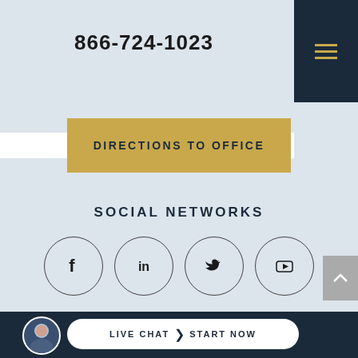866-724-1023
DIRECTIONS TO OFFICE
SOCIAL NETWORKS
[Figure (illustration): Four social media icons in circles: Facebook (f), LinkedIn (in), Twitter (bird), YouTube (play button)]
LIVE CHAT  START NOW